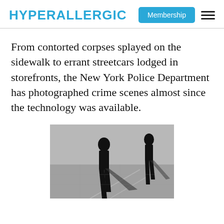HYPERALLERGIC | Membership
From contorted corpses splayed on the sidewalk to errant streetcars lodged in storefronts, the New York Police Department has photographed crime scenes almost since the technology was available.
[Figure (photo): Black and white photograph showing dark silhouettes of figures walking on a sidewalk, with long shadows cast on the pavement.]